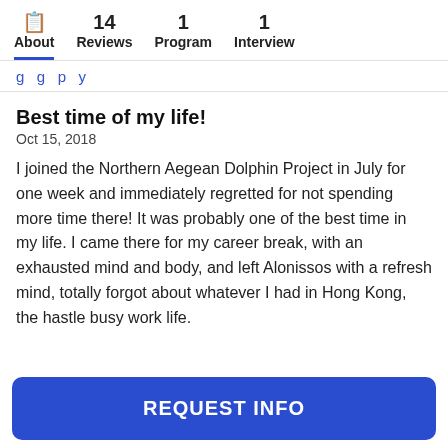About  14 Reviews  1 Program  1 Interview
...g...g...p...y...
Best time of my life!
Oct 15, 2018
I joined the Northern Aegean Dolphin Project in July for one week and immediately regretted for not spending more time there! It was probably one of the best time in my life. I came there for my career break, with an exhausted mind and body, and left Alonissos with a refresh mind, totally forgot about whatever I had in Hong Kong, the hastle busy work life.
REQUEST INFO